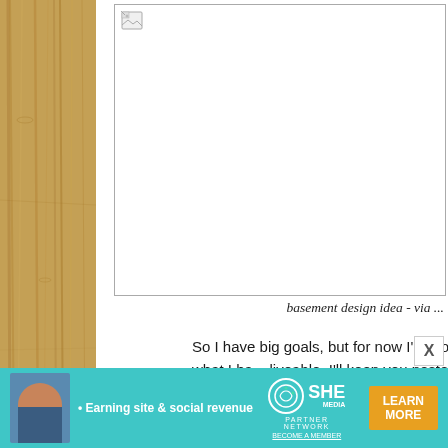[Figure (photo): A broken/unloaded image placeholder with a small broken image icon in the top-left corner. The image has a thin border and a white background. This appears to be a basement design idea image that failed to load.]
basement design idea - via ...
So I have big goals, but for now I'm working with what I ha... liveable. I'll keep you posted and let you know if I get ... impossibility to tackle?
[Figure (infographic): Advertisement banner for SHE Partner Network. Teal/cyan background with a woman's photo on the left, bullet point 'Earning site & social revenue', the SHE logo in the center, and a 'LEARN MORE' orange button on the right. Text at bottom reads 'BECOME A MEMBER'.]